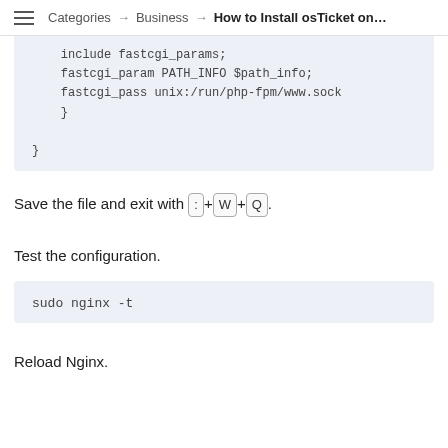Categories → Business → How to Install osTicket on...
include fastcgi_params;
        fastcgi_param PATH_INFO $path_info;
        fastcgi_pass unix:/run/php-fpm/www.sock
    }

}
Save the file and exit with [:]+[W]+[Q].
Test the configuration.
sudo nginx -t
Reload Nginx.